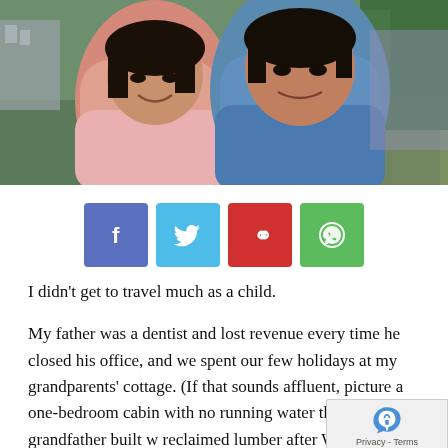[Figure (photo): Two Asian children smiling outdoors near a body of water with greenery and buildings in the background. A girl in pink on the left and a boy in blue jacket on the right.]
[Figure (infographic): Social sharing buttons: Facebook (blue-purple), Twitter (light blue), Pinterest (red), WhatsApp (green), each with respective icons.]
I didn't get to travel much as a child.
My father was a dentist and lost revenue every time he closed his office, and we spent our few holidays at my grandparents' cottage. (If that sounds affluent, picture a one-bedroom cabin with no running water that my great-grandfather built w reclaimed lumber after WWII.)